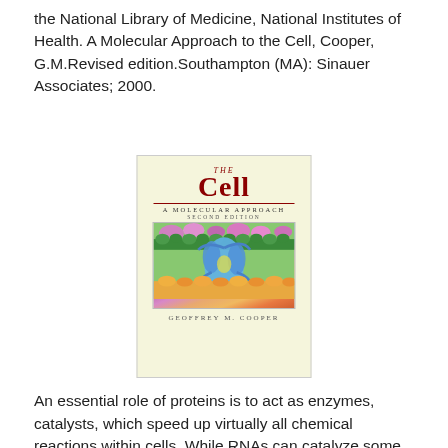the National Library of Medicine, National Institutes of Health. A Molecular Approach to the Cell, Cooper, G.M.Revised edition.Southampton (MA): Sinauer Associates; 2000.
[Figure (illustration): Book cover of 'The Cell: A Molecular Approach, Second Edition' by Geoffrey M. Cooper, featuring a colorful illustration of cellular structures. Published by Sinauer Associates.]
An essential role of proteins is to act as enzymes, catalysts, which speed up virtually all chemical reactions within cells. While RNAs can catalyze some